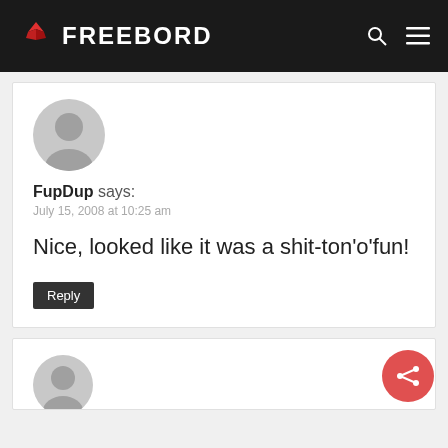FREEBORD
FupDup says:
July 15, 2008 at 10:25 am
Nice, looked like it was a shit-ton'o'fun!
Reply